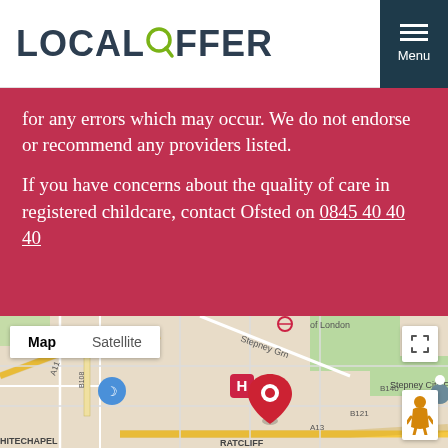[Figure (logo): Local Offer logo with magnifying glass replacing the O]
for any errors which may occur. We do not endorse or recommend any providers listed.

If you have concerns about the quality of care in registered childcare, contact Ofsted on 0845 40 40 40
[Figure (map): Google Maps showing area around Stepney City Farm, Whitechapel, RATCLIFFE, London with A11, A13, B140, B121, B108 roads marked. Red location pin in center. Map/Satellite toggle shown.]